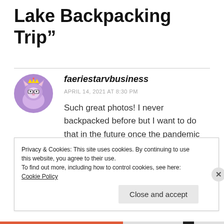Lake Backpacking Trip”
faeriestarvbusiness
APRIL 14, 2021 AT 8:30 PM
Such great photos! I never backpacked before but I want to do that in the future once the pandemic dies down and getting myself
Privacy & Cookies: This site uses cookies. By continuing to use this website, you agree to their use.
To find out more, including how to control cookies, see here: Cookie Policy
Close and accept